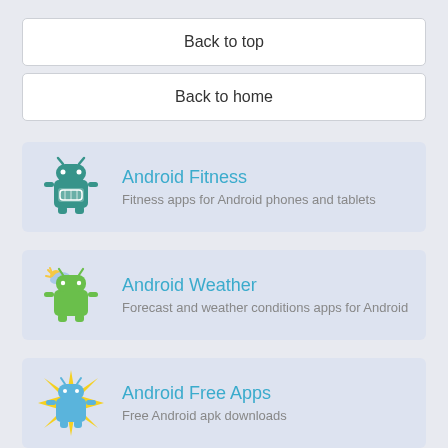Back to top
Back to home
Android Fitness — Fitness apps for Android phones and tablets
Android Weather — Forecast and weather conditions apps for Android
Android Free Apps — Free Android apk downloads